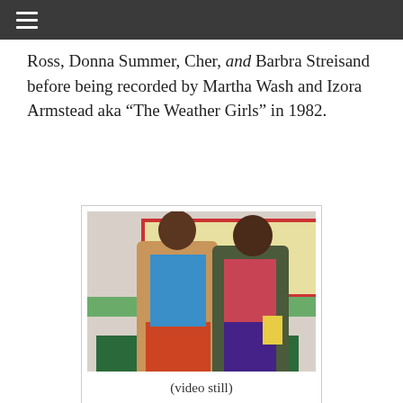☰
Ross, Donna Summer, Cher, and Barbra Streisand before being recorded by Martha Wash and Izora Armstead aka “The Weather Girls” in 1982.
[Figure (photo): Video still showing two women in a room with a colorful US map on the wall. The woman on the left wears a tan coat over a blue top and orange/red skirt. The woman on the right wears a dark olive coat over a pink top and purple pants.]
(video still)